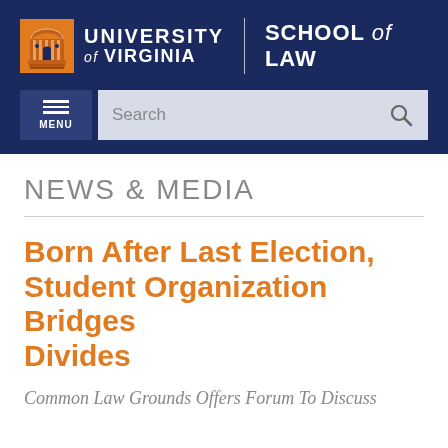[Figure (logo): University of Virginia School of Law logo with Rotunda icon, UVA text, and School of Law text on dark navy background]
MENU  Search
NEWS & MEDIA
Born After Last Election, Student Organization Bridges Divides
Common Law Grounds Offers Forum To Discuss